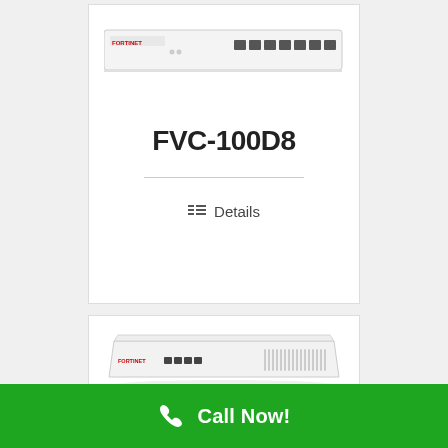[Figure (photo): Fortinet FVC-100D8 network appliance/firewall device, front view, white 1U rack unit]
FVC-100D8
Details
[Figure (photo): Fortinet network appliance device, front-angled view, white 1U rack unit with ports visible]
Call Now!